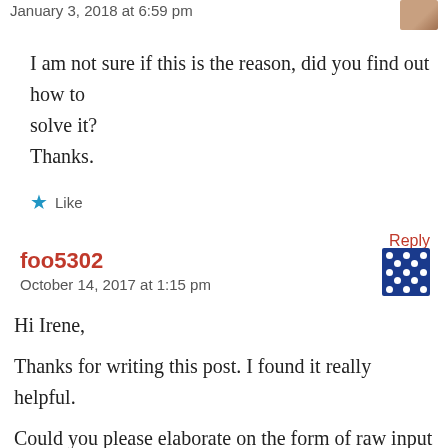January 3, 2018 at 6:59 pm
I am not sure if this is the reason, did you find out how to solve it?
Thanks.
★ Like
Reply
foo5302
October 14, 2017 at 1:15 pm
Hi Irene,
Thanks for writing this post. I found it really helpful.
Could you please elaborate on the form of raw input in the